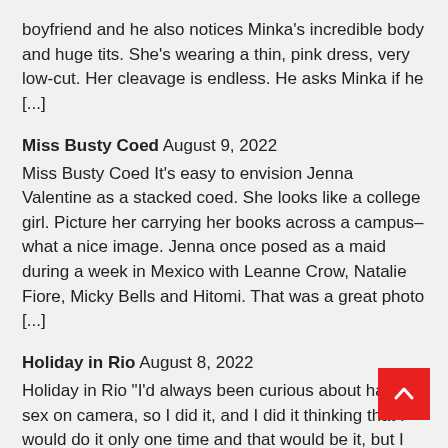boyfriend and he also notices Minka's incredible body and huge tits. She's wearing a thin, pink dress, very low-cut. Her cleavage is endless. He asks Minka if he [...]
Miss Busty Coed August 9, 2022
Miss Busty Coed It's easy to envision Jenna Valentine as a stacked coed. She looks like a college girl. Picture her carrying her books across a campus–what a nice image. Jenna once posed as a maid during a week in Mexico with Leanne Crow, Natalie Fiore, Micky Bells and Hitomi. That was a great photo [...]
Holiday in Rio August 8, 2022
Holiday in Rio "I'd always been curious about having sex on camera, so I did it, and I did it thinking that I would do it only one time and that would be it, but I liked it so much that I had to come back and do it again," Daylene Rio said. "I can't [...]
Cum on Maggie August 7, 2022
Cum on Maggie Here cums Maggie Green, looking hot and bothered in her sexy red lingerie. Eye-banging the camera, she